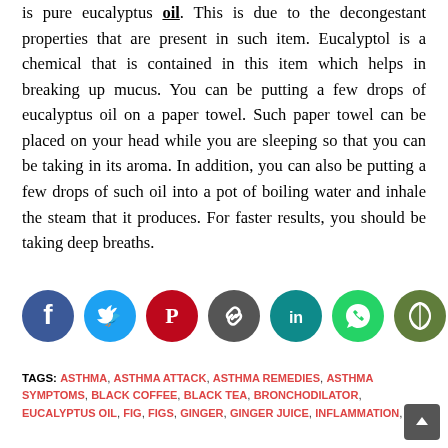is pure eucalyptus oil. This is due to the decongestant properties that are present in such item. Eucalyptol is a chemical that is contained in this item which helps in breaking up mucus. You can be putting a few drops of eucalyptus oil on a paper towel. Such paper towel can be placed on your head while you are sleeping so that you can be taking in its aroma. In addition, you can also be putting a few drops of such oil into a pot of boiling water and inhale the steam that it produces. For faster results, you should be taking deep breaths.
[Figure (infographic): Row of seven social media sharing icons: Facebook (blue), Twitter (light blue), Pinterest (red), Copy Link (dark gray), LinkedIn (teal), WhatsApp (green), More Options (olive/green)]
TAGS: ASTHMA, ASTHMA ATTACK, ASTHMA REMEDIES, ASTHMA SYMPTOMS, BLACK COFFEE, BLACK TEA, BRONCHODILATOR, EUCALYPTUS OIL, FIG, FIGS, GINGER, GINGER JUICE, INFLAMMATION,